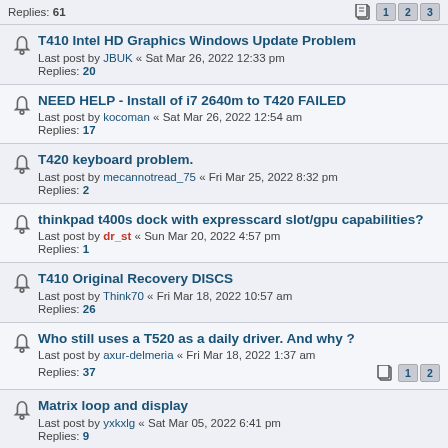Replies: 61 | pages: 1 2 3
T410 Intel HD Graphics Windows Update Problem
Last post by JBUK « Sat Mar 26, 2022 12:33 pm
Replies: 20
NEED HELP - Install of i7 2640m to T420 FAILED
Last post by kocoman « Sat Mar 26, 2022 12:54 am
Replies: 17
T420 keyboard problem.
Last post by mecannotread_75 « Fri Mar 25, 2022 8:32 pm
Replies: 2
thinkpad t400s dock with expresscard slot/gpu capabilities?
Last post by dr_st « Sun Mar 20, 2022 4:57 pm
Replies: 1
T410 Original Recovery DISCS
Last post by Think70 « Fri Mar 18, 2022 10:57 am
Replies: 26
Who still uses a T520 as a daily driver. And why ?
Last post by axur-delmeria « Fri Mar 18, 2022 1:37 am
Replies: 37 | pages: 1 2
Matrix loop and display
Last post by yxkxlg « Sat Mar 05, 2022 6:41 pm
Replies: 9
Did I brick my T520?
Last post by bonjonno « Sat Mar 05, 2022 5:17 pm
Replies: 20
I Love my T420
Last post by TPFanatic « Thu Feb 24, 2022 5:33 pm
Replies: 10
T400 beeps when typing non-alphanumeric characters